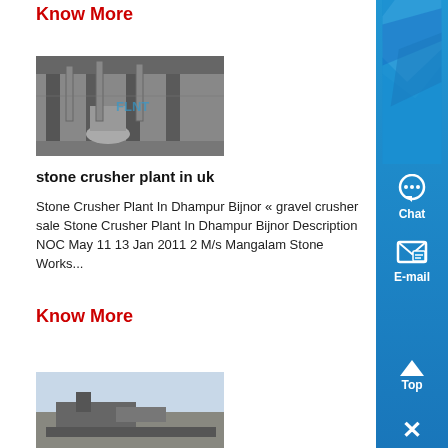Know More
[Figure (photo): Industrial stone crusher plant interior showing machinery, columns, pipes and equipment]
stone crusher plant in uk
Stone Crusher Plant In Dhampur Bijnor « gravel crusher sale Stone Crusher Plant In Dhampur Bijnor Description NOC May 11 13 Jan 2011 2 M/s Mangalam Stone Works...
Know More
[Figure (photo): Outdoor stone crusher plant machinery]